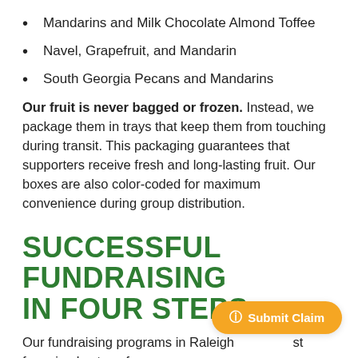Mandarins and Milk Chocolate Almond Toffee
Navel, Grapefruit, and Mandarin
South Georgia Pecans and Mandarins
Our fruit is never bagged or frozen. Instead, we package them in trays that keep them from touching during transit. This packaging guarantees that supporters receive fresh and long-lasting fruit. Our boxes are also color-coded for maximum convenience during group distribution.
SUCCESSFUL FUNDRAISING IN FOUR STEPS
Our fundraising programs in Raleigh just four simple steps for success: